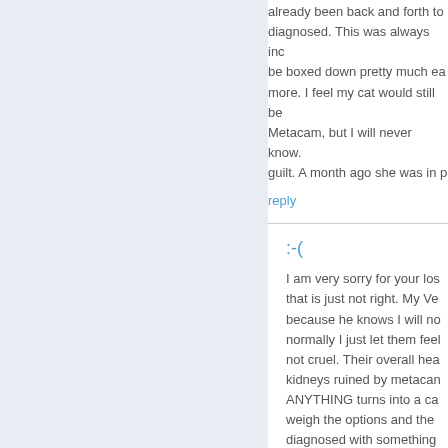already been back and forth to diagnosed. This was always inc be boxed down pretty much ea more. I feel my cat would still be Metacam, but I will never know. guilt. A month ago she was in p
reply
:-(
I am very sorry for your los that is just not right. My Ve because he knows I will no normally I just let them feel not cruel. Their overall hea kidneys ruined by metacan ANYTHING turns into a ca weigh the options and the diagnosed with something away without them-the ans more uncomfortable in so